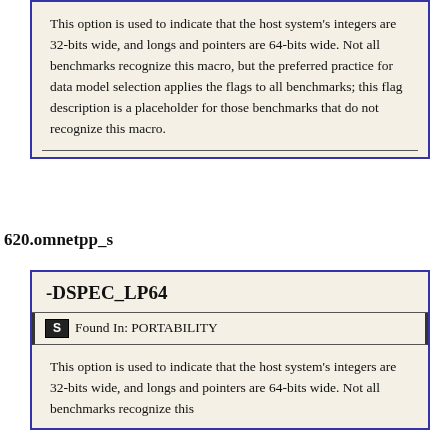This option is used to indicate that the host system's integers are 32-bits wide, and longs and pointers are 64-bits wide. Not all benchmarks recognize this macro, but the preferred practice for data model selection applies the flags to all benchmarks; this flag description is a placeholder for those benchmarks that do not recognize this macro.
620.omnetpp_s
-DSPEC_LP64
Found In: PORTABILITY
This option is used to indicate that the host system's integers are 32-bits wide, and longs and pointers are 64-bits wide. Not all benchmarks recognize this